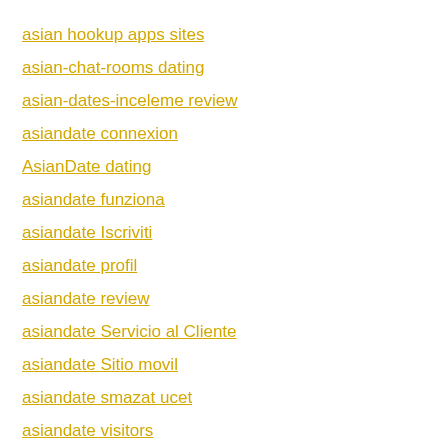asian hookup apps sites
asian-chat-rooms dating
asian-dates-inceleme review
asiandate connexion
AsianDate dating
asiandate funziona
asiandate Iscriviti
asiandate profil
asiandate review
asiandate Servicio al Cliente
asiandate Sitio movil
asiandate smazat ucet
asiandate visitors
asiandate-inceleme visitors
AsianDating acceso